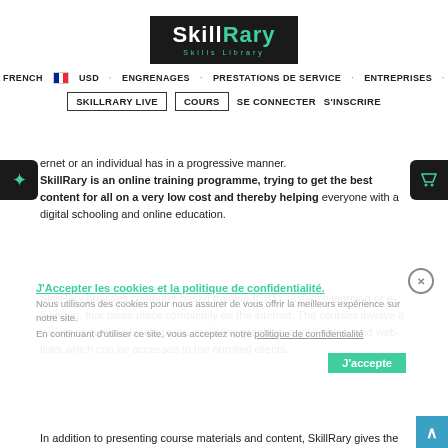[Figure (logo): SkillRary logo — white text on black background with teal 'Rary' and 'Skills Library' subtitle]
FRENCH  USD  ENGRENAGES  PRESTATIONS DE SERVICE  ENTREPRISES
SKILLRARY LIVE  COURS  SE CONNECTER  S'INSCRIRE
ernet or an individual has in a progressive manner. SkillRary is an online training programme, trying to get the best content for all on a very low cost and thereby helping everyone with a digital schooling and online education.
SkillRary provides computer based training (CBT), distance learning or e-learning, that takes place completely on the internet. The courses involve a variety of multimedia elements, including graphics, audio, video, and web-links which can be accessed to the enrolled clients.
In addition to presenting course materials and content, SkillRary gives the students the opportunity for live interactions and real-time feedback in the form of quizzes and tests. Interactions between the instructor and students are also conducted via chat, e-mail or other web-
J'Accepter les cookies et la politique de confidentialité

Nous utilisons des cookies pour nous assurer de vous offrir la meilleurs expérience sur notre site.

En continuant d'utiliser ce site, vous acceptez notre politique de confidentialité